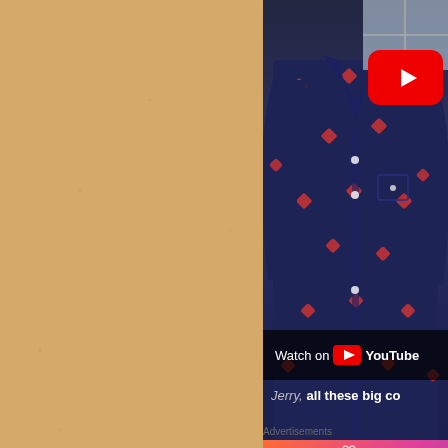[Figure (screenshot): YouTube video screenshot showing a man in a dark navy shirt with red diamond pattern, with YouTube play button overlay, 'Watch on YouTube' text, and subtitle text 'Jerry, all these big co'. Below the video is an 'Advertisements' label and a Tumblr advertisement banner with colorful gradient background and 'FANDO ON tumblr' text with a sailboat sticker.]
Advertisements